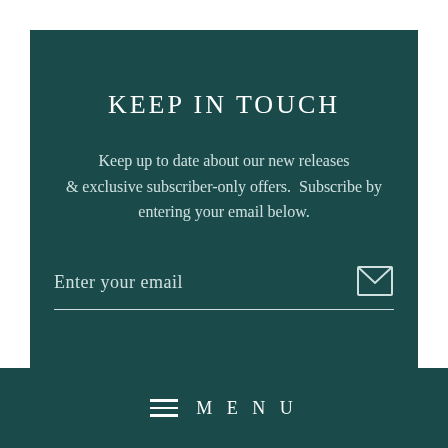KEEP IN TOUCH
Keep up to date about our new releases & exclusive subscriber-only offers.  Subscribe by entering your email below.
[Figure (other): Email input field with envelope icon. Shows placeholder text 'Enter your email' with a horizontal underline and an envelope/mail icon on the right.]
[Figure (other): Menu bar at the bottom showing three horizontal lines (hamburger menu icon) followed by the text 'MENU' in spaced capital letters.]